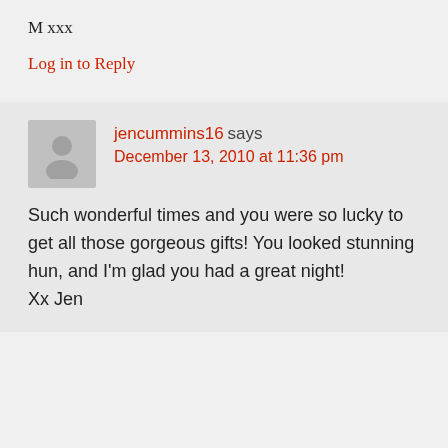M xxx
Log in to Reply
jencummins16 says
December 13, 2010 at 11:36 pm
Such wonderful times and you were so lucky to get all those gorgeous gifts! You looked stunning hun, and I'm glad you had a great night!
Xx Jen